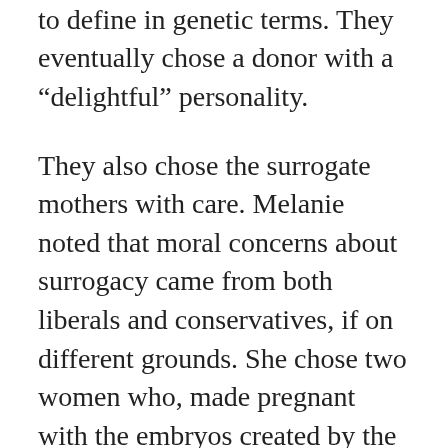attributes, even if these are hard to define in genetic terms. They eventually chose a donor with a “delightful” personality.
They also chose the surrogate mothers with care. Melanie noted that moral concerns about surrogacy came from both liberals and conservatives, if on different grounds. She chose two women who, made pregnant with the embryos created by the donor eggs and Michael’s sperm, carried the Thernstrom’s reproductive hopes, as well.
Melanie and Michael referred to these babies as “drafts.” In her words, they did this “to remind ourselves that they were notes toward the children we wanted, but if they died, they were just beginnings like all the embryos had been, and we would